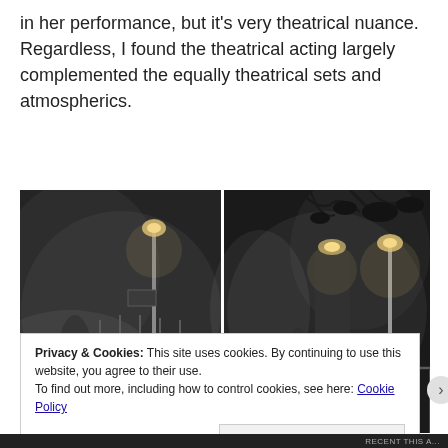in her performance, but it’s very theatrical nuance. Regardless, I found the theatrical acting largely complemented the equally theatrical sets and atmospherics.
[Figure (photo): Two side-by-side black and white atmospheric photos of a foggy nighttime street scene with lampposts, silhouetted figures, iron fences and trees creating a theatrical, gothic atmosphere.]
Privacy & Cookies: This site uses cookies. By continuing to use this website, you agree to their use.
To find out more, including how to control cookies, see here: Cookie Policy
Close and accept
RECENT THIS A...